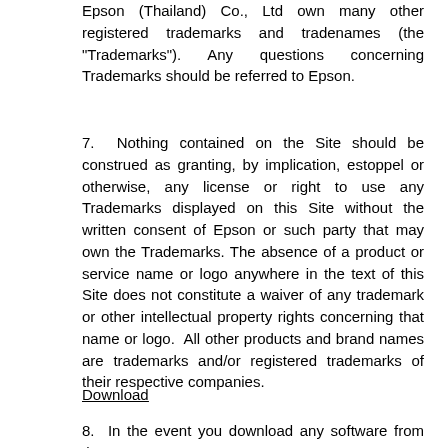Epson (Thailand) Co., Ltd own many other registered trademarks and tradenames (the "Trademarks"). Any questions concerning Trademarks should be referred to Epson.
7.  Nothing contained on the Site should be construed as granting, by implication, estoppel or otherwise, any license or right to use any Trademarks displayed on this Site without the written consent of Epson or such party that may own the Trademarks. The absence of a product or service name or logo anywhere in the text of this Site does not constitute a waiver of any trademark or other intellectual property rights concerning that name or logo.  All other products and brand names are trademarks and/or registered trademarks of their respective companies.
Download
8.  In the event you download any software from the